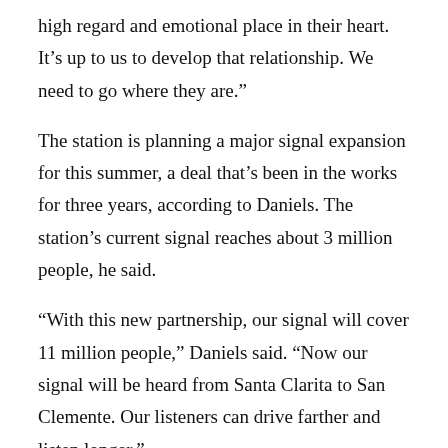high regard and emotional place in their heart. It’s up to us to develop that relationship. We need to go where they are.”
The station is planning a major signal expansion for this summer, a deal that’s been in the works for three years, according to Daniels. The station’s current signal reaches about 3 million people, he said.
“With this new partnership, our signal will cover 11 million people,” Daniels said. “Now our signal will be heard from Santa Clarita to San Clemente. Our listeners can drive farther and listen longer.”
With expanded reach north and south from his perch at CSUN, Daniels is pumped to share and discover truly authentic, solid music.
“There’s got to be a quality of emotional resonance [with music] that is immediate,” he said. “We also want to be with these artists their whole career. We’re in it for the long haul. And we’ve been